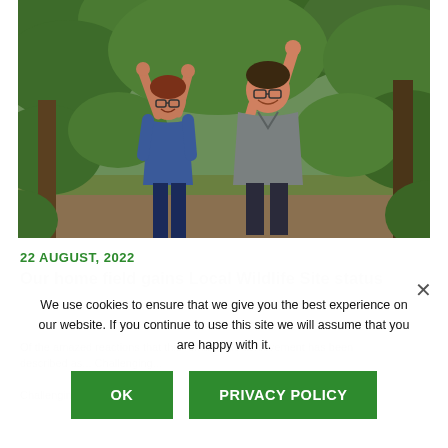[Figure (photo): Two women standing outdoors with arms raised in celebration, surrounded by green foliage and trees. One wears a blue shirt, the other a grey polo shirt.]
22 AUGUST, 2022
Our home field gains Local Wildlife Site status
Of the amazed reactions that this remarkable achievement has been described as... Challenging...
We use cookies to ensure that we give you the best experience on our website. If you continue to use this site we will assume that you are happy with it.
OK
PRIVACY POLICY